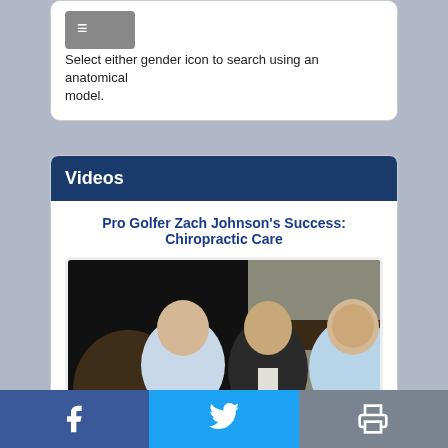Select either gender icon to search using an anatomical model.
Videos
Pro Golfer Zach Johnson's Success: Chiropractic Care
[Figure (photo): Three men posing together for a photo indoors; the man on the left wears a light blue shirt, the man in the center wears a dark blazer with a white shirt, and the man on the right wears a light blue polo shirt.]
Share on Facebook | Share on Twitter | Print